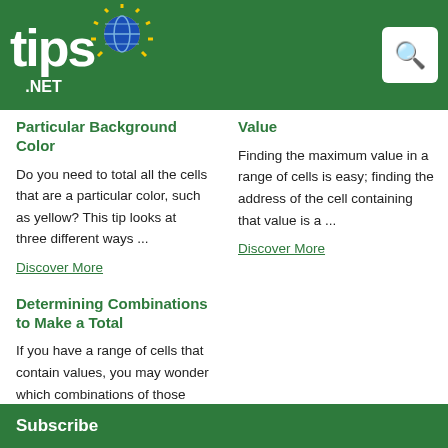tips.net
Particular Background Color
Do you need to total all the cells that are a particular color, such as yellow? This tip looks at three different ways ...
Discover More
Value
Finding the maximum value in a range of cells is easy; finding the address of the cell containing that value is a ...
Discover More
Determining Combinations to Make a Total
If you have a range of cells that contain values, you may wonder which combinations of those cells should be used to meet ...
Discover More
Subscribe